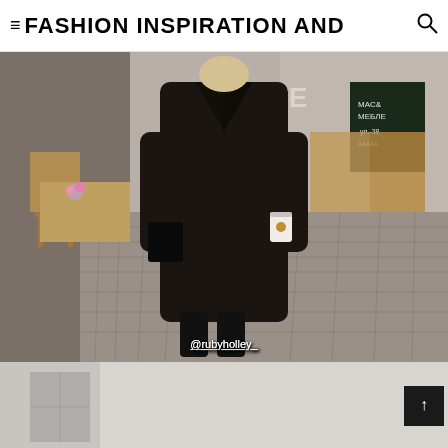≡ FASHION INSPIRATION AND 🔍
[Figure (photo): Street style photo of a person wearing a long black teddy/faux fur coat, holding a white coffee cup, standing on a cobblestone street with café chairs and tables visible in the background. Attribution: @rubyholley_]
[Figure (photo): Partial view of a second street style photo, mostly white/light colored building facade]